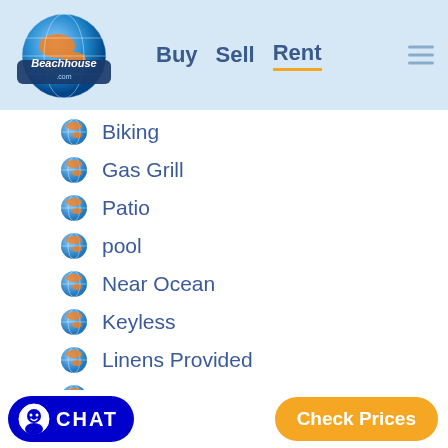Beachhouse.com — Buy  Sell  Rent
Biking
Gas Grill
Patio
pool
Near Ocean
Keyless
Linens Provided
Internet
Grill/BBQ - Private
Community Pool